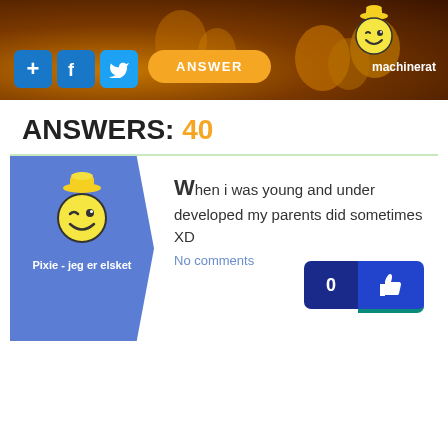[Figure (screenshot): Website header banner with dark brown/orange background with balloons, social media buttons (plus, Facebook, Twitter), an orange Answer button, a mascot logo, and username 'machinerat']
ANSWERS: 40
[Figure (screenshot): Answer card with blue left panel showing mascot and username 'Pixie - jeg er elsket', and answer text 'When i was young and under developed my parents did sometimes XD' with No comments link and vote button showing 0]
When i was young and under developed my parents did sometimes XD
No comments